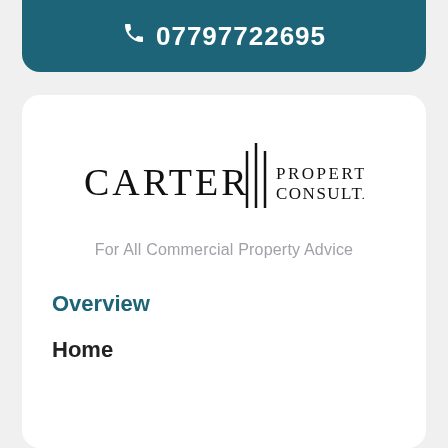07797722695
[Figure (logo): Carter Property Consultancy logo with three vertical bars between CARTER and PROPERTY CONSULTANCY text]
For All Commercial Property Advice
Overview
Home